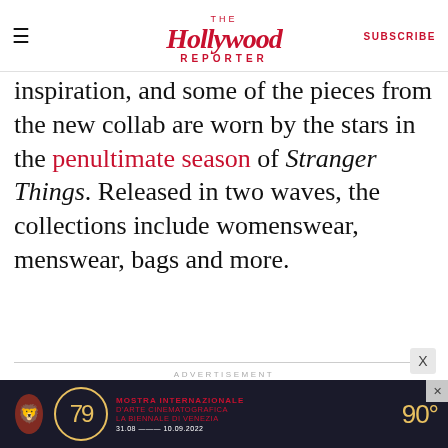The Hollywood Reporter — SUBSCRIBE
inspiration, and some of the pieces from the new collab are worn by the stars in the penultimate season of Stranger Things. Released in two waves, the collections include womenswear, menswear, bags and more.
ADVERTISEMENT
FEATURED VIDEOS
[Figure (photo): Video thumbnail showing a person's face, with a play button overlay]
[Figure (photo): Advertisement banner for Mostra Internazionale d'Arte Cinematografica La Biennale di Venezia 79 edition, 90 years, dated 31.08 - 10.09.2022]